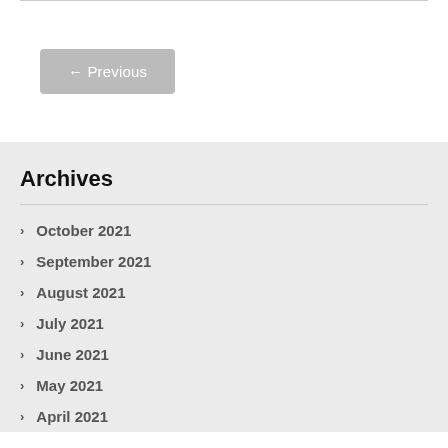← Previous
Archives
October 2021
September 2021
August 2021
July 2021
June 2021
May 2021
April 2021